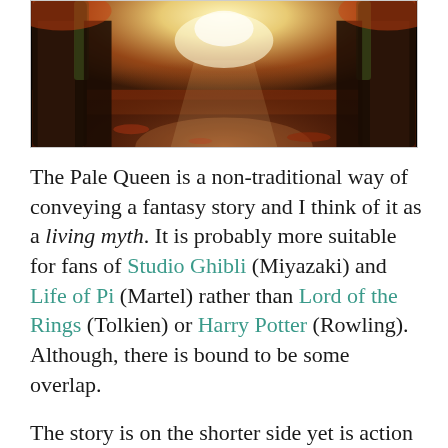[Figure (photo): A forest path with glowing warm light at the end, red autumn leaves on the ground and large tree trunks on either side, creating a magical atmosphere.]
The Pale Queen is a non-traditional way of conveying a fantasy story and I think of it as a living myth. It is probably more suitable for fans of Studio Ghibli (Miyazaki) and Life of Pi (Martel) rather than Lord of the Rings (Tolkien) or Harry Potter (Rowling). Although, there is bound to be some overlap.
The story is on the shorter side yet is action packed and full of gods, beasts and magic. The style is flowing and poetic, with the